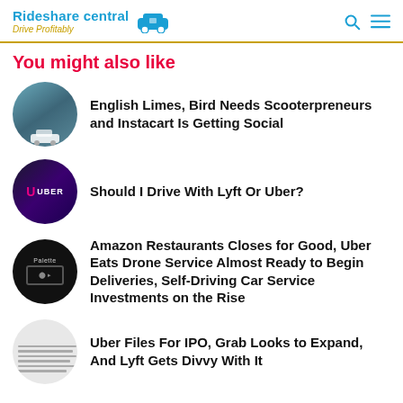Rideshare central — Drive Profitably
You might also like
English Limes, Bird Needs Scooterpreneurs and Instacart Is Getting Social
Should I Drive With Lyft Or Uber?
Amazon Restaurants Closes for Good, Uber Eats Drone Service Almost Ready to Begin Deliveries, Self-Driving Car Service Investments on the Rise
Uber Files For IPO, Grab Looks to Expand, And Lyft Gets Divvy With It